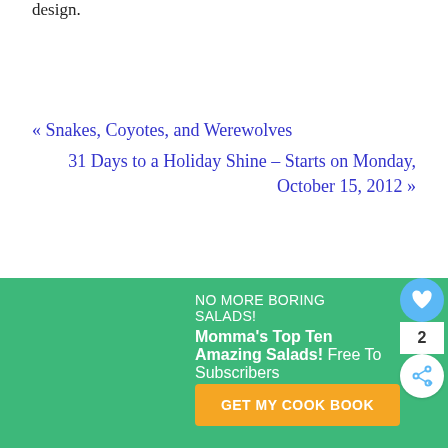design.
« Snakes, Coyotes, and Werewolves
31 Days to a Holiday Shine – Starts on Monday, October 15, 2012 »
NO MORE BORING SALADS! Momma's Top Ten Amazing Salads! Free To Subscribers
GET MY COOK BOOK